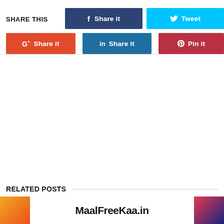SHARE THIS
[Figure (screenshot): Social share buttons: Facebook Share it (dark blue), Twitter Tweet (cyan), Google+ Share it (orange-red), LinkedIn Share it (dark teal), Pinterest Pin it (dark red)]
RELATED POSTS
[Figure (screenshot): Related post card with MaalFreeKaa.in logo/banner]